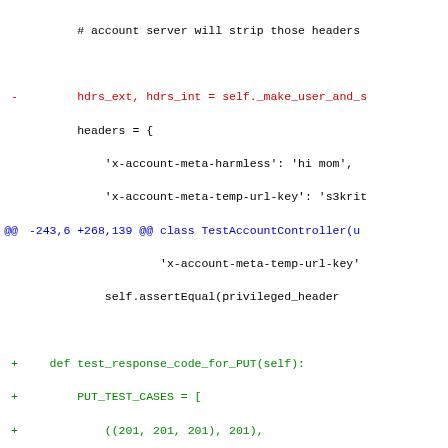Diff/patch code snippet showing changes to a Python test file for account controller, including PUT and DELETE test case definitions.